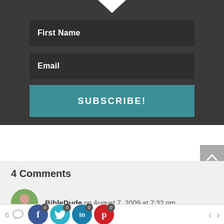[Figure (screenshot): Email subscription form with First Name and Email input fields and a SUBSCRIBE! button on dark background]
4 Comments
BibleDude on August 7, 2009 at 7:32 pm
[Figure (infographic): Bottom bar with share count (6), social icons for Facebook, Twitter, LinkedIn, Pinterest each with 0 badge, and navigation arrows]